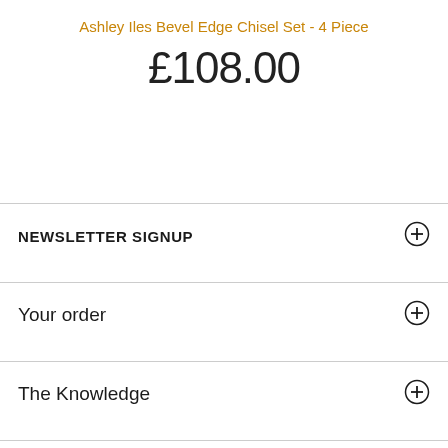Ashley Iles Bevel Edge Chisel Set - 4 Piece
£108.00
NEWSLETTER SIGNUP
Your order
The Knowledge
Quick Links